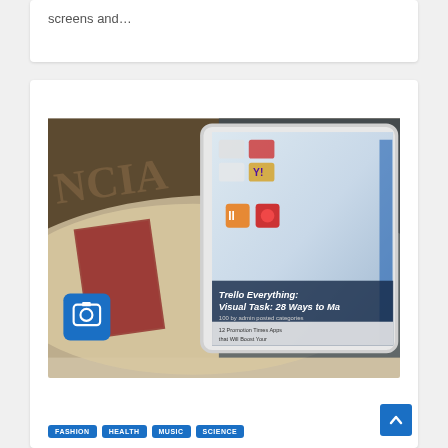screens and…
[Figure (photo): A tablet device displaying app screens including Trello, placed on top of a newspaper. A blue camera icon overlay is visible in the bottom-left of the image.]
FASHION
HEALTH
MUSIC
SCIENCE